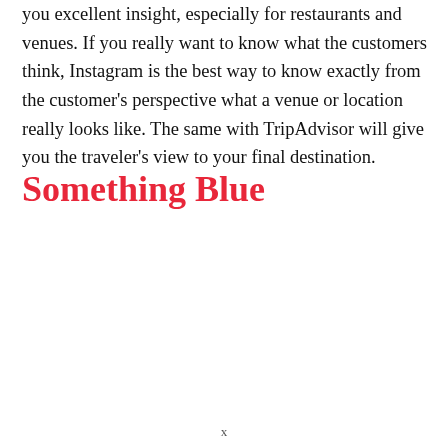you excellent insight, especially for restaurants and venues. If you really want to know what the customers think, Instagram is the best way to know exactly from the customer's perspective what a venue or location really looks like. The same with TripAdvisor will give you the traveler's view to your final destination.
Something Blue
x